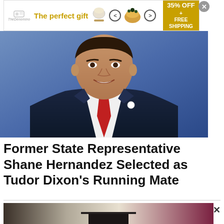[Figure (infographic): Advertisement banner: 'The perfect gift' in gold text with bowl images, navigation arrows, and '35% OFF + FREE SHIPPING' offer box in gold]
[Figure (photo): Official portrait photo of a man in a dark navy suit with a red tie and lapel pin, smiling, against a blue background — Shane Hernandez]
Former State Representative Shane Hernandez Selected as Tudor Dixon's Running Mate
[Figure (photo): Partial view of a dark room with a podium, dark background fading to maroon on right side]
[Figure (infographic): Bottom advertisement banner: 'The perfect gift' in gold text with bowl images and '35% OFF + FREE SHIPPING' offer box]